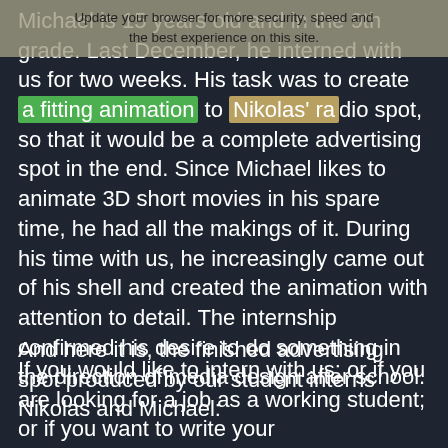Update your browser for more security, speed and the best experience on this site.
Michael is 15 years old and in the 9th grade. Last December, he interned with us for two weeks. His task was to create a fitting animation to Nikolas' radio spot, so that it would be a complete advertising spot in the end. Since Michael likes to animate 3D short movies in his spare time, he had all the makings of it. During his time with us, he increasingly came out of his shell and created the animation with attention to detail. The internship confirmed his desire to do something in the direction of media design after school.
And here it is, the finished advertising spot produced by our student interns Nikolas and Michael:
If you would like to intern with us; or if you are looking for a job as a working student; or if you want to write your